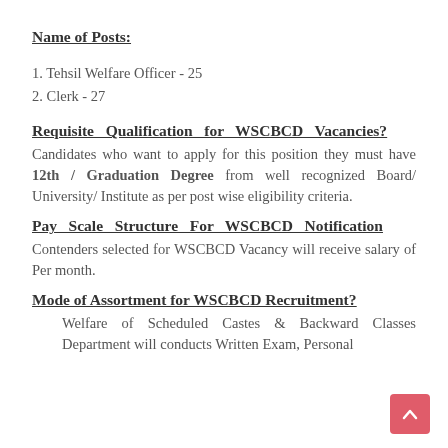Name of Posts:
1. Tehsil Welfare Officer - 25
2. Clerk - 27
Requisite Qualification for WSCBCD Vacancies?
Candidates who want to apply for this position they must have 12th / Graduation Degree from well recognized Board/ University/ Institute as per post wise eligibility criteria.
Pay Scale Structure For WSCBCD Notification
Contenders selected for WSCBCD Vacancy will receive salary of Per month.
Mode of Assortment for WSCBCD Recruitment?
Welfare of Scheduled Castes & Backward Classes Department will conducts Written Exam, Personal